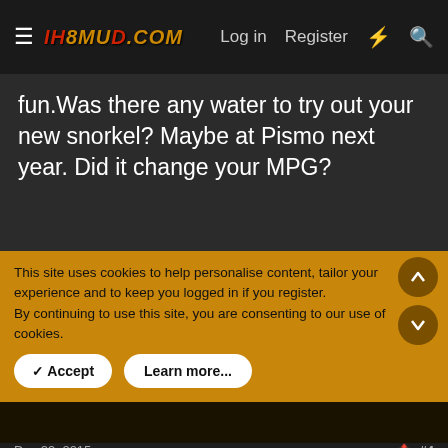IH8MUD.COM — Log in | Register
fun.Was there any water to try out your new snorkel? Maybe at Pismo next year. Did it change your MPG?
justintpryor
Dec 29, 2015  #4
This site uses cookies to help personalise content, tailor your experience and to keep you logged in if you register.
By continuing to use this site, you are consenting to our use of cookies.